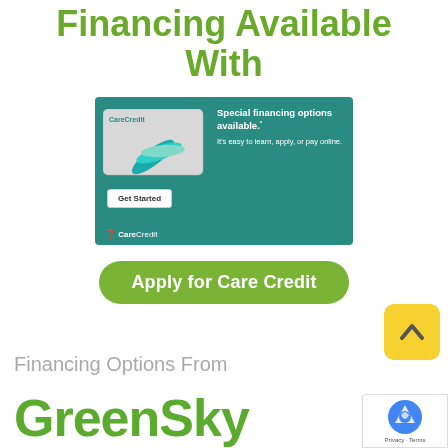Financing Available With
[Figure (illustration): CareCredit banner advertisement showing the CareCredit card, text 'Special financing options available. It's easy to learn, apply, or pay online.' and a 'Get Started' button, with CareCredit branding on a teal background.]
Apply for Care Credit
[Figure (illustration): Yellow scroll-up button with a caret/chevron pointing upward]
Financing Options From
[Figure (logo): GreenSky logo in large bold green text]
[Figure (illustration): reCAPTCHA badge with Google reCAPTCHA logo, 'Privacy - Terms' text]